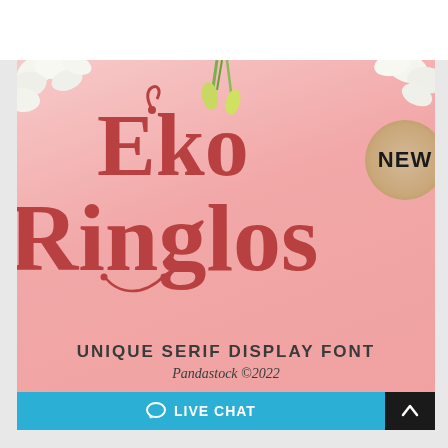[Figure (illustration): Font specimen/promotional image for 'Eko Ringlos' — a display serif font. Pink floral background with white flowers in the top corners, large decorative serif lettering spelling 'Eko Ringlos' in deep rose/red, a tan circular badge reading 'NEW' in the top right, subtitle text 'UNIQUE SERIF DISPLAY FONT' and 'Pandastock ©2022' at the bottom, and a blue 'LIVE CHAT' button bar at the very bottom.]